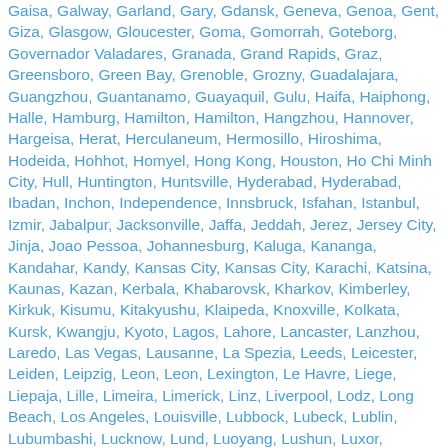Gaisa, Galway, Garland, Gary, Gdansk, Geneva, Genoa, Gent, Giza, Glasgow, Gloucester, Goma, Gomorrah, Goteborg, Governador Valadares, Granada, Grand Rapids, Graz, Greensboro, Green Bay, Grenoble, Grozny, Guadalajara, Guangzhou, Guantanamo, Guayaquil, Gulu, Haifa, Haiphong, Halle, Hamburg, Hamilton, Hamilton, Hangzhou, Hannover, Hargeisa, Herat, Herculaneum, Hermosillo, Hiroshima, Hodeida, Hohhot, Homyel, Hong Kong, Houston, Ho Chi Minh City, Hull, Huntington, Huntsville, Hyderabad, Hyderabad, Ibadan, Inchon, Independence, Innsbruck, Isfahan, Istanbul, Izmir, Jabalpur, Jacksonville, Jaffa, Jeddah, Jerez, Jersey City, Jinja, Joao Pessoa, Johannesburg, Kaluga, Kananga, Kandahar, Kandy, Kansas City, Kansas City, Karachi, Katsina, Kaunas, Kazan, Kerbala, Khabarovsk, Kharkov, Kimberley, Kirkuk, Kisumu, Kitakyushu, Klaipeda, Knoxville, Kolkata, Kursk, Kwangju, Kyoto, Lagos, Lahore, Lancaster, Lanzhou, Laredo, Las Vegas, Lausanne, La Spezia, Leeds, Leicester, Leiden, Leipzig, Leon, Leon, Lexington, Le Havre, Liege, Liepaja, Lille, Limeira, Limerick, Linz, Liverpool, Lodz, Long Beach, Los Angeles, Louisville, Lubbock, Lubeck, Lublin, Lubumbashi, Lucknow, Lund, Luoyang, Lushun, Luxor, Lynchburg, Lyon, Macon, Maiduguri, Malaga, Malmo, Manchester, Manchester, Mandalay, Mannheim, Maracaibo, Maracay, Marrakesh, Marseille, Mashhad, Matamoros, Mazar-i-Sharif,